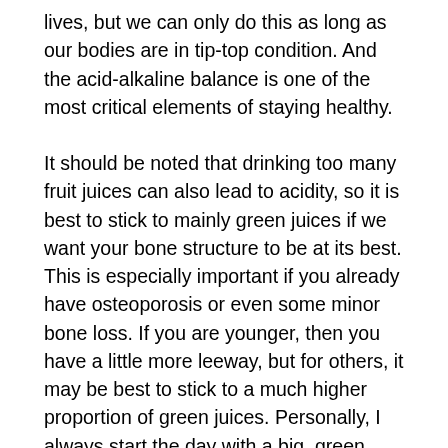lives, but we can only do this as long as our bodies are in tip-top condition. And the acid-alkaline balance is one of the most critical elements of staying healthy.
It should be noted that drinking too many fruit juices can also lead to acidity, so it is best to stick to mainly green juices if we want your bone structure to be at its best. This is especially important if you already have osteoporosis or even some minor bone loss. If you are younger, then you have a little more leeway, but for others, it may be best to stick to a much higher proportion of green juices. Personally, I always start the day with a big, green juice, as I know I'm then set up for the day. Later in the day, I may have another green juice or a juice that's a mixture of fruit and